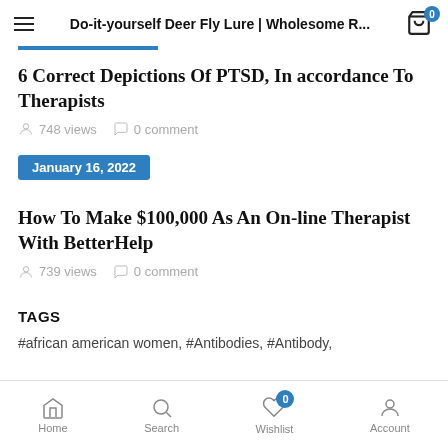Do-it-yourself Deer Fly Lure | Wholesome R...
6 Correct Depictions Of PTSD, In accordance To Therapists
748 views   0 comment
January 16, 2022
How To Make $100,000 As An On-line Therapist With BetterHelp
739 views   0 comment
TAGS
#african american women,  #Antibodies,  #Antibody,
Home   Search   Wishlist   Account